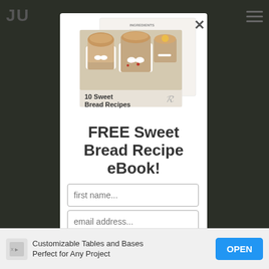[Figure (screenshot): Website popup modal offering a free Sweet Bread Recipe eBook with an illustration of mini bread loaves and recipe card, input fields for first name and email address, on a dark background. Bottom ad banner reads 'Customizable Tables and Bases Perfect for Any Project' with an OPEN button.]
FREE Sweet Bread Recipe eBook!
first name...
email address...
Customizable Tables and Bases Perfect for Any Project
OPEN